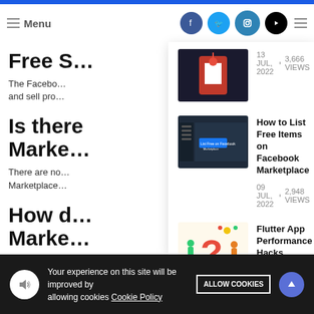Menu | social icons
Free S…
The Facebo… and sell pro…
Is there… Marke…
There are no… Marketplace…
How d… Marke…
[Figure (screenshot): Thumbnail image with dark background and red/white icon]
13 JUL, 2022 • 3,666 VIEWS
[Figure (screenshot): Screenshot of Facebook Marketplace listing interface with blue button]
How to List Free Items on Facebook Marketplace
09 JUL, 2022 • 2,948 VIEWS
[Figure (illustration): Illustration of people with question mark graphic]
Flutter App Performance Hacks
25 JUN, 2022 • 3,432 VIEWS
Your experience on this site will be improved by allowing cookies Cookie Policy ALLOW COOKIES